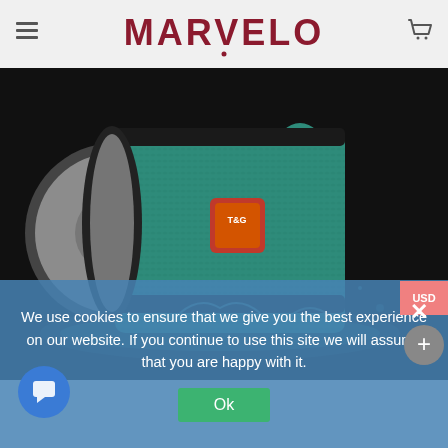[Figure (logo): MARVELO brand logo in dark red/maroon text with stylized font, centered in navigation header]
[Figure (photo): A teal/turquoise T&G branded cylindrical Bluetooth speaker with fabric exterior, shown splashing in water against a dark background]
USD
We use cookies to ensure that we give you the best experience on our website. If you continue to use this site we will assume that you are happy with it.
Ok